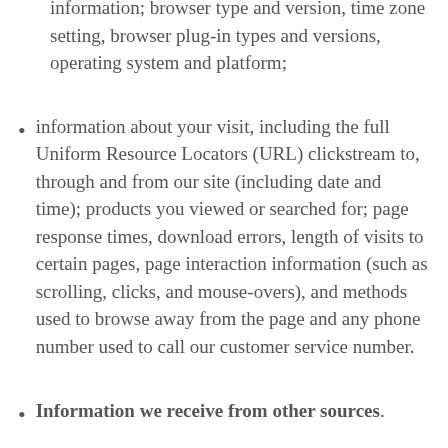information; browser type and version, time zone setting, browser plug-in types and versions, operating system and platform;
information about your visit, including the full Uniform Resource Locators (URL) clickstream to, through and from our site (including date and time); products you viewed or searched for; page response times, download errors, length of visits to certain pages, page interaction information (such as scrolling, clicks, and mouse-overs), and methods used to browse away from the page and any phone number used to call our customer service number.
Information we receive from other sources.